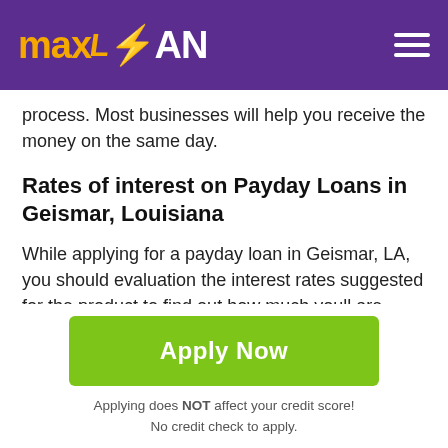maxLOAN
process. Most businesses will help you receive the money on the same day.
Rates of interest on Payday Loans in Geismar, Louisiana
While applying for a payday loan in Geismar, LA, you should evaluation the interest rates suggested for the product to find out how much youll are obligated to pay at the end of the 30 days. On average, payday loans
Apply Now
Applying does NOT affect your credit score!
No credit check to apply.